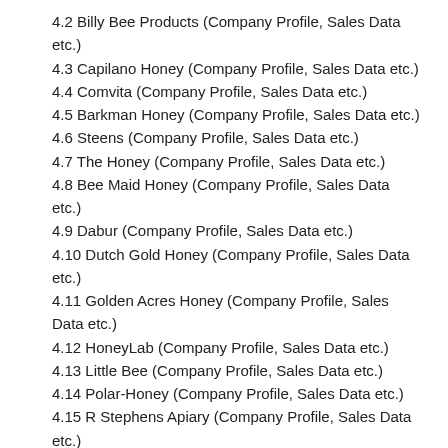4.2 Billy Bee Products (Company Profile, Sales Data etc.)
4.3 Capilano Honey (Company Profile, Sales Data etc.)
4.4 Comvita (Company Profile, Sales Data etc.)
4.5 Barkman Honey (Company Profile, Sales Data etc.)
4.6 Steens (Company Profile, Sales Data etc.)
4.7 The Honey (Company Profile, Sales Data etc.)
4.8 Bee Maid Honey (Company Profile, Sales Data etc.)
4.9 Dabur (Company Profile, Sales Data etc.)
4.10 Dutch Gold Honey (Company Profile, Sales Data etc.)
4.11 Golden Acres Honey (Company Profile, Sales Data etc.)
4.12 HoneyLab (Company Profile, Sales Data etc.)
4.13 Little Bee (Company Profile, Sales Data etc.)
4.14 Polar-Honey (Company Profile, Sales Data etc.)
4.15 R Stephens Apiary (Company Profile, Sales Data etc.)
4.16 Savannah Bee (Company Profile, Sales Data etc.)
4.17 Sioux Honey (Company Profile, Sales Data etc.)
4.18 Rowse Honey (Company Profile, Sales Data etc.)
4.19 Yanbian Baolixiang (Company Profile, Sales Data etc.)
4.20 Dalian Gongjitang (Company Profile, Sales Data...)